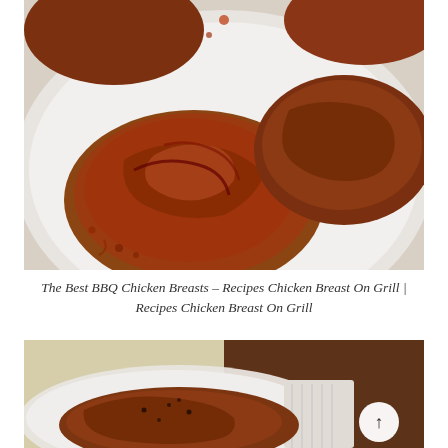[Figure (photo): Close-up photo of BBQ grilled chicken breasts covered in glossy red-brown barbecue sauce, arranged on a white plate on a light marble surface.]
The Best BBQ Chicken Breasts – Recipes Chicken Breast On Grill | Recipes Chicken Breast On Grill
[Figure (photo): Photo of a seasoned chicken breast in a skillet or pan, on a wooden surface with a white cloth, partially visible.]